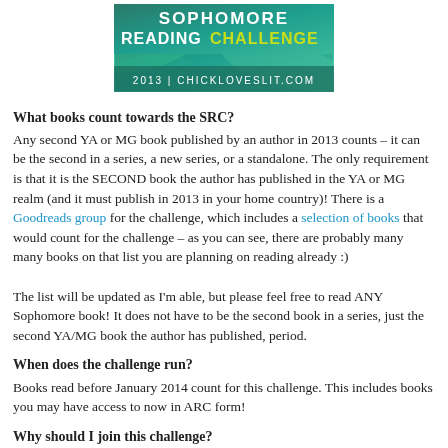[Figure (logo): Sophomore Reading Challenge 2013 banner with teal/green swirling background, white text 'SOPHOMORE READING' and yellow 'CHALLENGE', subtitle '2013 | CHICKLOVESLIT.COM']
What books count towards the SRC?
Any second YA or MG book published by an author in 2013 counts – it can be the second in a series, a new series, or a standalone. The only requirement is that it is the SECOND book the author has published in the YA or MG realm (and it must publish in 2013 in your home country)! There is a Goodreads group for the challenge, which includes a selection of books that would count for the challenge – as you can see, there are probably many many books on that list you are planning on reading already :)
The list will be updated as I'm able, but please feel free to read ANY Sophomore book! It does not have to be the second book in a series, just the second YA/MG book the author has published, period.
When does the challenge run?
Books read before January 2014 count for this challenge. This includes books you may have access to now in ARC form!
Why should I join this challenge?
Reading debut novels is AWESOME. It is by far my favorite challenge – it